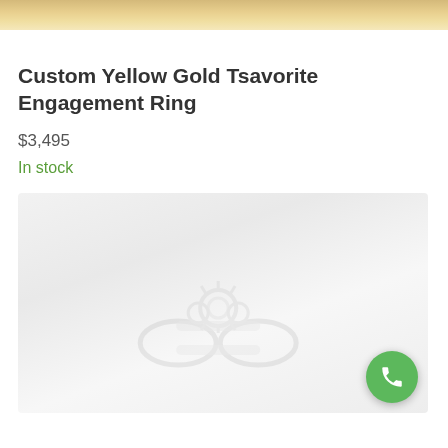[Figure (photo): Top portion of a custom yellow gold tsavorite engagement ring photo, cropped at the top of the page]
Custom Yellow Gold Tsavorite Engagement Ring
$3,495
In stock
[Figure (photo): Faded/light image of a custom yellow gold tsavorite engagement ring on a white/light gray background, with a green phone call button in the bottom right corner]